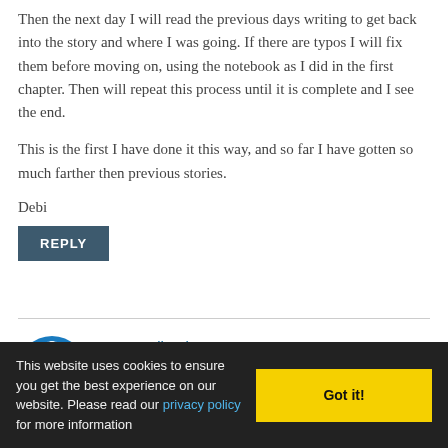Then the next day I will read the previous days writing to get back into the story and where I was going. If there are typos I will fix them before moving on, using the notebook as I did in the first chapter. Then will repeat this process until it is complete and I see the end.
This is the first I have done it this way, and so far I have gotten so much farther then previous stories.
Debi
REPLY
K.M. Weiland says
JUNE 20, 2013 AT 3:50 PM
This website uses cookies to ensure you get the best experience on our website. Please read our privacy policy for more information